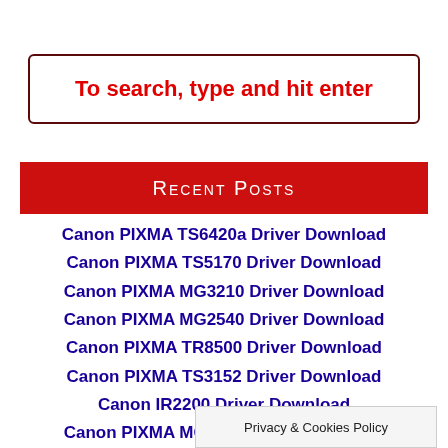To search, type and hit enter
Recent Posts
Canon PIXMA TS6420a Driver Download
Canon PIXMA TS5170 Driver Download
Canon PIXMA MG3210 Driver Download
Canon PIXMA MG2540 Driver Download
Canon PIXMA TR8500 Driver Download
Canon PIXMA TS3152 Driver Download
Canon IR2200 Driver Download
Canon PIXMA MG2255 Driver Download
Canon I-PRESS... Driver Download
Privacy & Cookies Policy